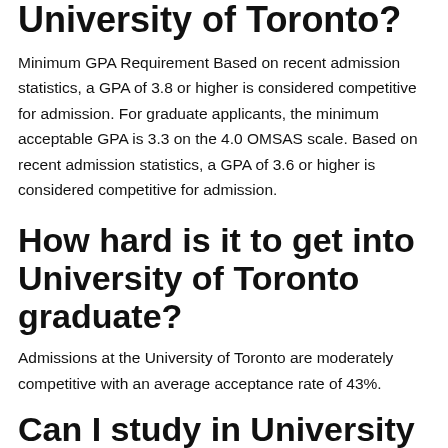University of Toronto?
Minimum GPA Requirement Based on recent admission statistics, a GPA of 3.8 or higher is considered competitive for admission. For graduate applicants, the minimum acceptable GPA is 3.3 on the 4.0 OMSAS scale. Based on recent admission statistics, a GPA of 3.6 or higher is considered competitive for admission.
How hard is it to get into University of Toronto graduate?
Admissions at the University of Toronto are moderately competitive with an average acceptance rate of 43%.
Can I study in University of